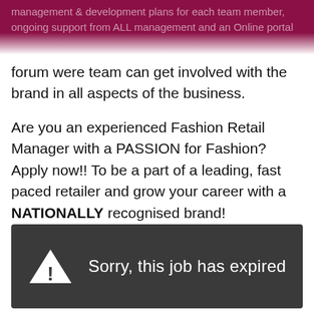management & development plans for each team member, ongoing support from ALL management and an Online portal forum were team can get involved with the brand in all aspects of the business.
Are you an experienced Fashion Retail Manager with a PASSION for Fashion? Apply now!! To be a part of a leading, fast paced retailer and grow your career with a NATIONALLY recognised brand!
Please feel free to call Brittany Magson on 0414 161 779, if you have further questions.
[Figure (infographic): Dark grey banner with a white warning triangle icon (containing an exclamation mark) and the text 'Sorry, this job has expired' in white.]